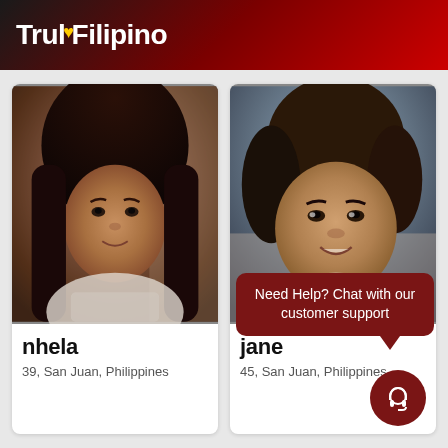TrulyFilipino
[Figure (photo): Profile photo of nhela, a woman with dark hair]
nhela
39, San Juan, Philippines
[Figure (photo): Profile photo of jane, a woman with dark hair smiling]
jane
45, San Juan, Philippines
Need Help? Chat with our customer support